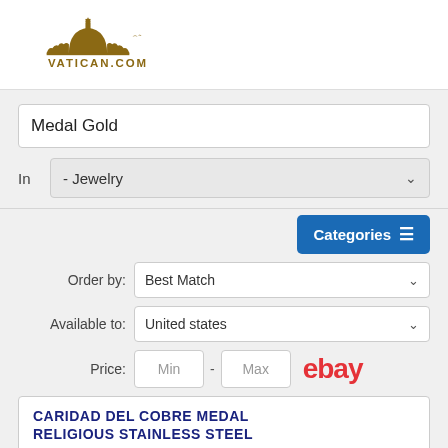[Figure (logo): Vatican.com logo with dome illustration in gold/dark gold, text VATICAN.COM below]
Medal Gold
In  - Jewelry
Categories
Order by:  Best Match
Available to:  United states
Price:  Min  -  Max
[Figure (logo): eBay logo in red]
CARIDAD DEL COBRE MEDAL RELIGIOUS STAINLESS STEEL